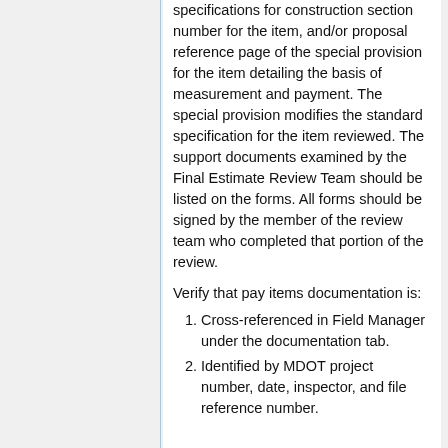specifications for construction section number for the item, and/or proposal reference page of the special provision for the item detailing the basis of measurement and payment. The special provision modifies the standard specification for the item reviewed. The support documents examined by the Final Estimate Review Team should be listed on the forms. All forms should be signed by the member of the review team who completed that portion of the review.
Verify that pay items documentation is:
Cross-referenced in Field Manager under the documentation tab.
Identified by MDOT project number, date, inspector, and file reference number.